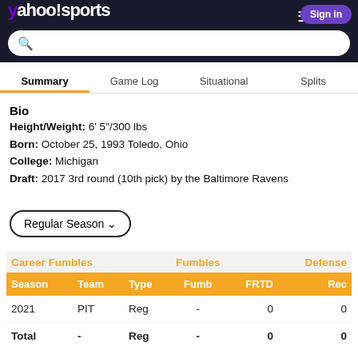yahoo sports
Summary | Game Log | Situational | Splits
Bio
Height/Weight: 6' 5"/300 lbs
Born: October 25, 1993 Toledo, Ohio
College: Michigan
Draft: 2017 3rd round (10th pick) by the Baltimore Ravens
Regular Season
| Season | Team | Type | Fumb | FRTD | Rec |
| --- | --- | --- | --- | --- | --- |
| 2021 | PIT | Reg | - | 0 | 0 |
| Total | - | Reg | - | 0 | 0 |